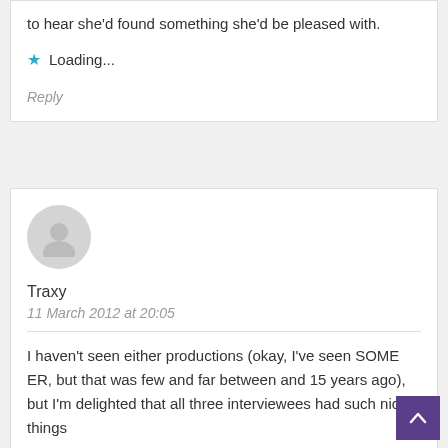to hear she'd found something she'd be pleased with.
Loading...
Reply
[Figure (illustration): Default user avatar — grey circle with white silhouette of a person]
Traxy
11 March 2012 at 20:05
I haven't seen either productions (okay, I've seen SOME ER, but that was few and far between and 15 years ago), but I'm delighted that all three interviewees had such nice things